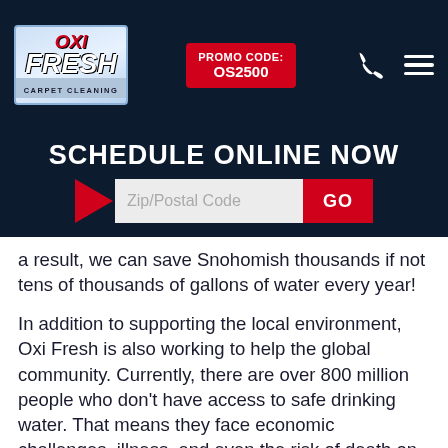[Figure (logo): Oxi Fresh Carpet Cleaning logo on blue gradient background]
PROMO CODE: OS2500
SCHEDULE ONLINE NOW
Zip/Postal Code GO
a result, we can save Snohomish thousands if not tens of thousands of gallons of water every year!
In addition to supporting the local environment, Oxi Fresh is also working to help the global community. Currently, there are over 800 million people who don't have access to safe drinking water. That means they face economic challenges, illness, and even the risk of death on a daily basis. But thanks to Water.org and their mission to fight the global water crisis, over 12 million peoples lives have been made immeasurably better.
In order to support their efforts, Oxi Fresh donates to